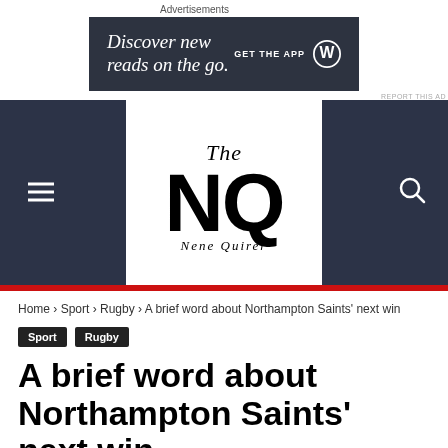Advertisements
[Figure (infographic): Advertisement banner: dark grey background with text 'Discover new reads on the go.' and 'GET THE APP' with WordPress logo]
REPORT THIS AD
[Figure (logo): The NQ Nene Quirer newspaper logo on white background, centered in a dark header banner with hamburger menu and search icon]
Home › Sport › Rugby › A brief word about Northampton Saints' next win
Sport  Rugby
A brief word about Northampton Saints' next win